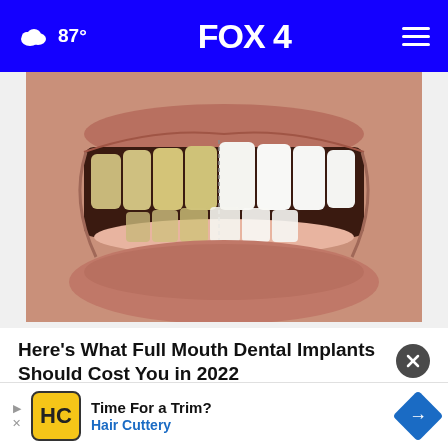87° FOX 4
[Figure (photo): Close-up photo of a person's smile showing teeth — left side showing natural/yellowed teeth and right side showing bright white dental implants, illustrating a before/after dental comparison]
Here's What Full Mouth Dental Implants Should Cost You in 2022
Dental
Time For a Trim? Hair Cuttery